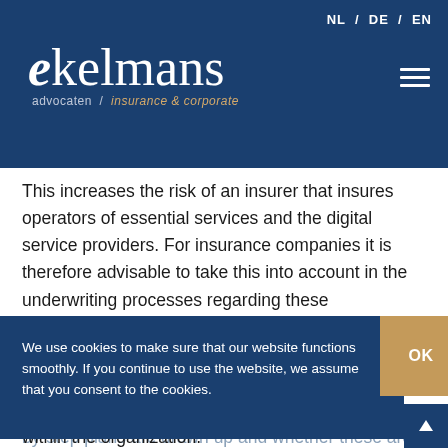NL / DE / EN
[Figure (logo): Ekelmans advocaten / insurance & corporate logo in white on dark blue background with hamburger menu icon]
This increases the risk of an insurer that insures operators of essential services and the digital service providers. For insurance companies it is therefore advisable to take this into account in the underwriting processes regarding these operators and providers. For example this can be done by checking whether protocols and step-by-step plans are drawn up and whether these are present within the organization. It is also advisable to oblige insured operators of essential services and digital service providers to inform the insurer of any changes to this duty of care within the organization.
We use cookies to make sure that our website functions smoothly. If you continue to use the website, we assume that you consent to the cookies.